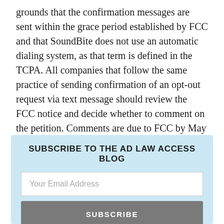grounds that the confirmation messages are sent within the grace period established by FCC and that SoundBite does not use an automatic dialing system, as that term is defined in the TCPA. All companies that follow the same practice of sending confirmation of an opt-out request via text message should review the FCC notice and decide whether to comment on the petition. Comments are due to FCC by May 15, 2012.
SUBSCRIBE TO THE AD LAW ACCESS BLOG